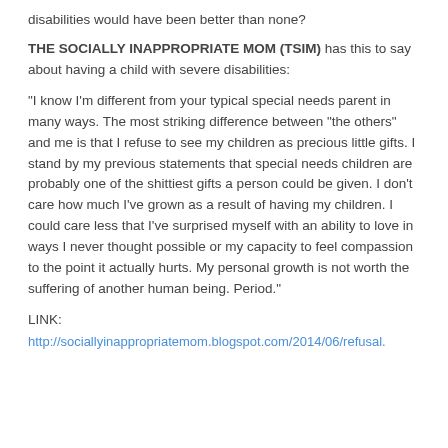disabilities would have been better than none?
THE SOCIALLY INAPPROPRIATE MOM (TSIM) has this to say about having a child with severe disabilities:
“I know I’m different from your typical special needs parent in many ways. The most striking difference between “the others” and me is that I refuse to see my children as precious little gifts. I stand by my previous statements that special needs children are probably one of the shittiest gifts a person could be given. I don’t care how much I’ve grown as a result of having my children. I could care less that I’ve surprised myself with an ability to love in ways I never thought possible or my capacity to feel compassion to the point it actually hurts. My personal growth is not worth the suffering of another human being. Period.”
LINK:
http://sociallyinappropriatemom.blogspot.com/2014/06/refusal.